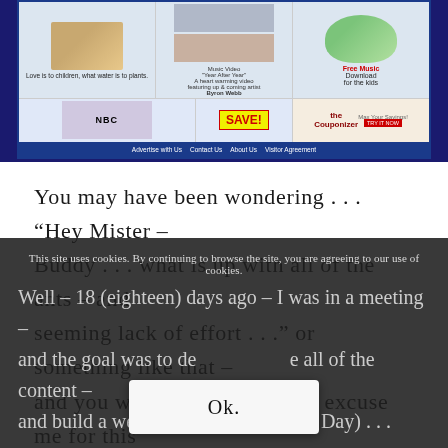[Figure (screenshot): Website screenshot showing a banner with images, video links (Music Video 'Year After Year', Byron Webb), free music download for kids, SAVE! coupon button, Couponizer ad, and a footer navigation bar with Advertise with Us, Contact Us, About Us, Visitor Agreement links.]
You may have been wondering . . . “Hey Mister – Buddy . . . what is up with all of the ants – and seeming lack of effort . . .” or something like that – and you will seriously have to excuse me for this typing – as my elocutioner is all but kaput for the moment
This site uses cookies. By continuing to browse the site, you are agreeing to our use of cookies.
Well – 18 (eighteen) days ago – I was in a meeting – and the goal was to de[sign/velop] all of the content – and build a website by June 17th (Father’s Day) . . .
Ok.